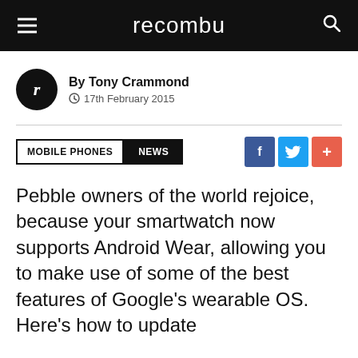recombu
By Tony Crammond
17th February 2015
MOBILE PHONES  NEWS
Pebble owners of the world rejoice, because your smartwatch now supports Android Wear, allowing you to make use of some of the best features of Google's wearable OS. Here's how to update